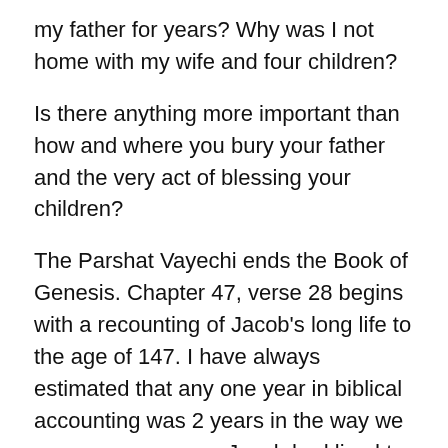my father for years? Why was I not home with my wife and four children?
Is there anything more important than how and where you bury your father and the very act of blessing your children?
The Parshat Vayechi ends the Book of Genesis. Chapter 47, verse 28 begins with a recounting of Jacob's long life to the age of 147. I have always estimated that any one year in biblical accounting was 2 years in the way we measure a year, so Jacob had lived to almost 74 years of age. When Jacob was about to die, he made his sons pledge not to bury him in Egypt, but to swear by all that they stood for that he would be buried with his forefathers in the Land of Canaan. He was. Some of the verses of this section are taken up with the most elaborate funeral